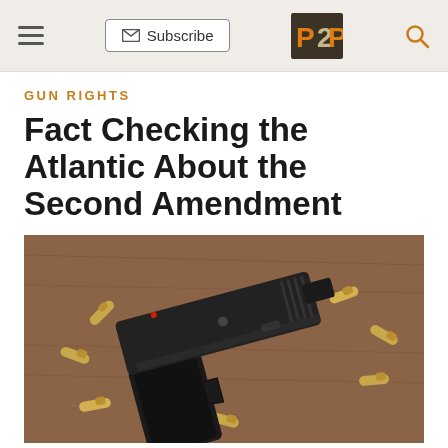Subscribe | P2P
GUN RIGHTS
Fact Checking the Atlantic About the Second Amendment
[Figure (photo): A black semi-automatic pistol (Desert Eagle) lying on a brown fabric surface surrounded by several gold/brass bullet cartridges]